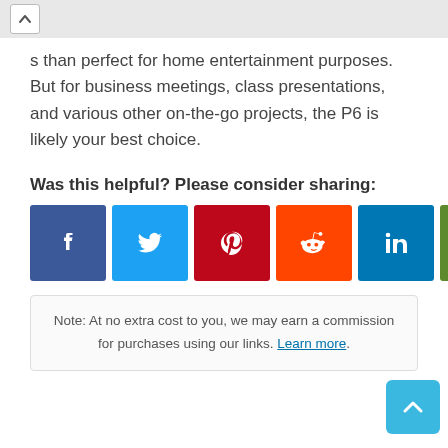s than perfect for home entertainment purposes. But for business meetings, class presentations, and various other on-the-go projects, the P6 is likely your best choice.
Was this helpful? Please consider sharing:
[Figure (other): Social sharing buttons: Facebook, Twitter, Pinterest, Reddit, LinkedIn, Email, Share]
Note: At no extra cost to you, we may earn a commission for purchases using our links. Learn more.